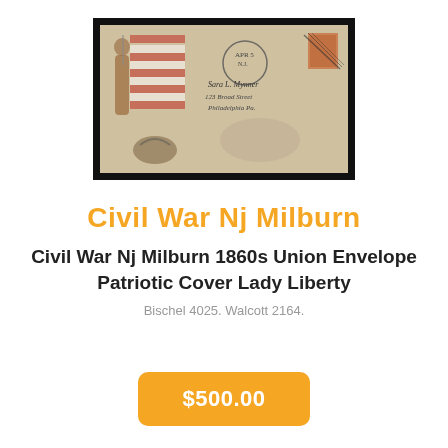[Figure (photo): A Civil War era patriotic envelope featuring Lady Liberty holding an American flag and an eagle at the bottom, with a postmark and stamp, addressed in cursive handwriting. Set against a black background photo mount.]
Civil War Nj Milburn
Civil War Nj Milburn 1860s Union Envelope Patriotic Cover Lady Liberty
Bischel 4025. Walcott 2164.
$500.00